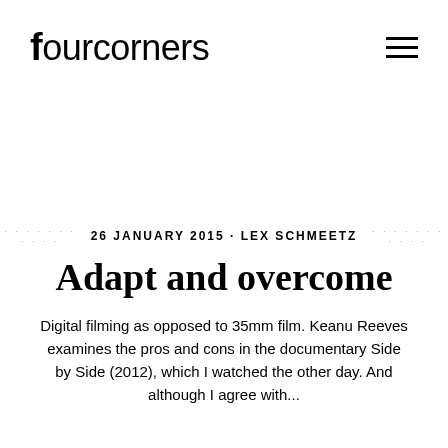fourcorners
26 JANUARY 2015 · LEX SCHMEETZ
Adapt and overcome
Digital filming as opposed to 35mm film. Keanu Reeves examines the pros and cons in the documentary Side by Side (2012), which I watched the other day. And although I agree with...